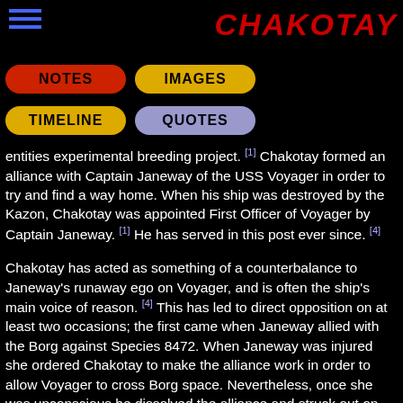CHAKOTAY
[Figure (other): Navigation buttons: NOTES (red), IMAGES (gold/orange), TIMELINE (gold/orange), QUOTES (blue/purple)]
entities experimental breeding project. [1] Chakotay formed an alliance with Captain Janeway of the USS Voyager in order to try and find a way home. When his ship was destroyed by the Kazon, Chakotay was appointed First Officer of Voyager by Captain Janeway. [1] He has served in this post ever since. [4]
Chakotay has acted as something of a counterbalance to Janeway's runaway ego on Voyager, and is often the ship's main voice of reason. [4] This has led to direct opposition on at least two occasions; the first came when Janeway allied with the Borg against Species 8472. When Janeway was injured she ordered Chakotay to make the alliance work in order to allow Voyager to cross Borg space. Nevertheless, once she was unconscious he dissolved the alliance and struck out on his own. [5] On the second occasion Janeway attempted to force information from a member of the USS Equinox's crew by allowing hostile aliens to attack him. Chakotay disobeyed direct orders in order to protect the man, and later admitted that he had considered attempting to remove her from command. [6]